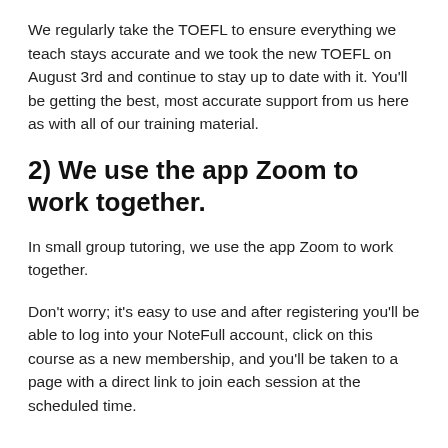We regularly take the TOEFL to ensure everything we teach stays accurate and we took the new TOEFL on August 3rd and continue to stay up to date with it. You'll be getting the best, most accurate support from us here as with all of our training material.
2) We use the app Zoom to work together.
In small group tutoring, we use the app Zoom to work together.
Don't worry; it's easy to use and after registering you'll be able to log into your NoteFull account, click on this course as a new membership, and you'll be taken to a page with a direct link to join each session at the scheduled time.